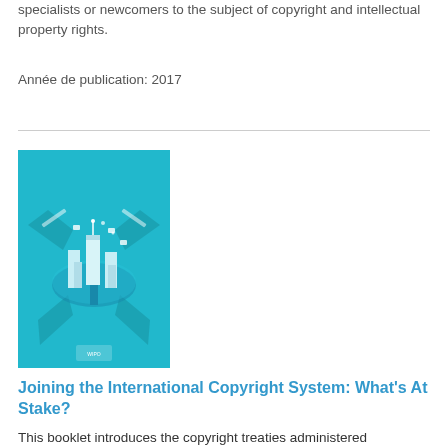specialists or newcomers to the subject of copyright and intellectual property rights.
Année de publication: 2017
[Figure (illustration): Book cover of 'Joining the International Copyright System: What's at Stake?' with a teal/cyan background showing an isometric illustration of a city hub connected to roads/networks.]
Joining the International Copyright System: What's At Stake?
This booklet introduces the copyright treaties administered